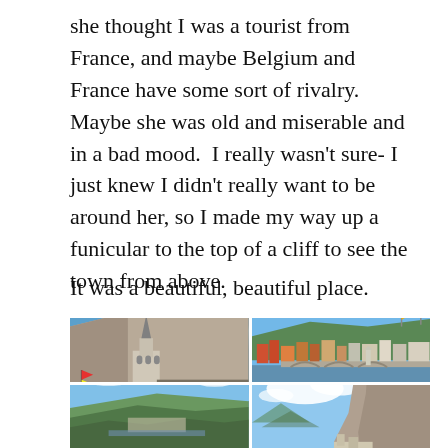she thought I was a tourist from France, and maybe Belgium and France have some sort of rivalry.  Maybe she was old and miserable and in a bad mood.  I really wasn't sure- I just knew I didn't really want to be around her, so I made my way up a funicular to the top of a cliff to see the town from above.
It was a beautiful, beautiful place.
[Figure (photo): Four photos of a Belgian town (likely Dinant): top-left shows a Gothic church built into a cliff face with a flag; top-right shows a river town view with a bridge, colorful buildings, and flags; bottom-left shows a panoramic view of hills and the town; bottom-right shows a rocky cliff with blue sky and clouds.]